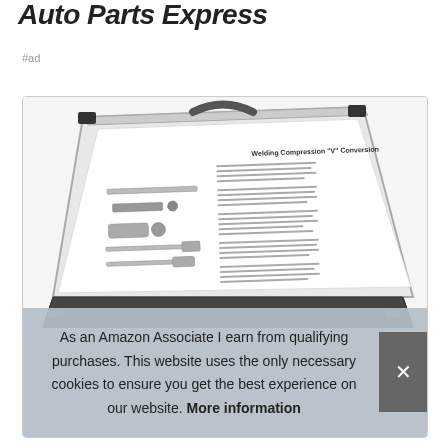Auto Parts Express
#ad
[Figure (photo): Open plastic carrying case containing a welding compression kit with instruction sheet and various tools/parts visible]
As an Amazon Associate I earn from qualifying purchases. This website uses the only necessary cookies to ensure you get the best experience on our website. More information